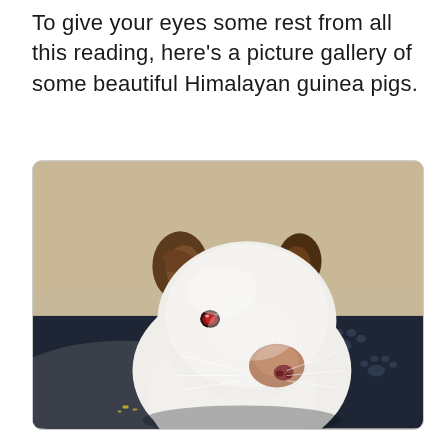To give your eyes some rest from all this reading, here's a picture gallery of some beautiful Himalayan guinea pigs.
[Figure (photo): A close-up photo of a Himalayan guinea pig — a white-bodied guinea pig with dark brown ears and a dark nose, with red/pink eyes, sitting in what appears to be a dark navy/black pet bed or bowl with paw print patterns. The background shows a light beige wall.]